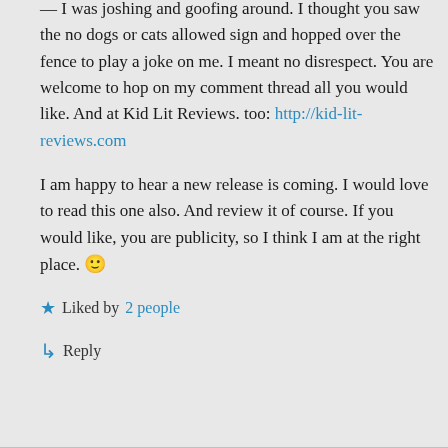— I was joshing and goofing around. I thought you saw the no dogs or cats allowed sign and hopped over the fence to play a joke on me. I meant no disrespect. You are welcome to hop on my comment thread all you would like. And at Kid Lit Reviews. too: http://kid-lit-reviews.com
I am happy to hear a new release is coming. I would love to read this one also. And review it of course. If you would like, you are publicity, so I think I am at the right place. 🙂
★ Liked by 2 people
↳ Reply